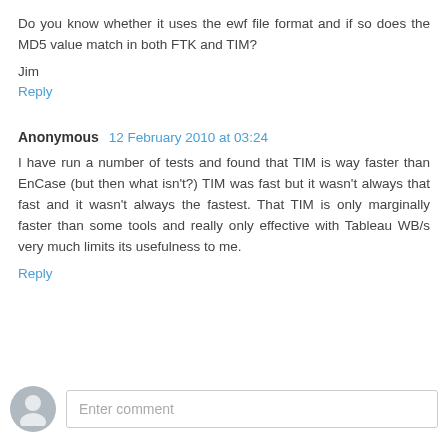Do you know whether it uses the ewf file format and if so does the MD5 value match in both FTK and TIM?
Jim
Reply
Anonymous 12 February 2010 at 03:24
I have run a number of tests and found that TIM is way faster than EnCase (but then what isn't?) TIM was fast but it wasn't always that fast and it wasn't always the fastest. That TIM is only marginally faster than some tools and really only effective with Tableau WB/s very much limits its usefulness to me.
Reply
Enter comment